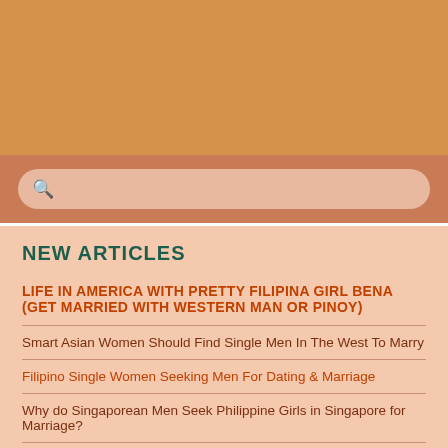NEW ARTICLES
LIFE IN AMERICA WITH PRETTY FILIPINA GIRL BENA (GET MARRIED WITH WESTERN MAN OR PINOY)
Smart Asian Women Should Find Single Men In The West To Marry
Filipino Single Women Seeking Men For Dating & Marriage
Why do Singaporean Men Seek Philippine Girls in Singapore for Marriage?
How To Find Asian American Singles & Personals In The US
Why are Chinese American Men Too Popular in the US & China?
Why Do Asian Singles Need To Use The Internet Dating Sites To Find Love & Romance?